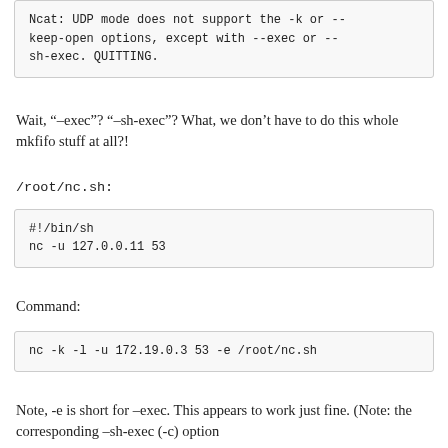Ncat: UDP mode does not support the -k or --keep-open options, except with --exec or --sh-exec. QUITTING.
Wait, “–exec”? “–sh-exec”? What, we don’t have to do this whole mkfifo stuff at all?!
/root/nc.sh:
#!/bin/sh
nc -u 127.0.0.11 53
Command:
nc -k -l -u 172.19.0.3 53 -e /root/nc.sh
Note, -e is short for –exec. This appears to work just fine. (Note: the corresponding –sh-exec (-c) option